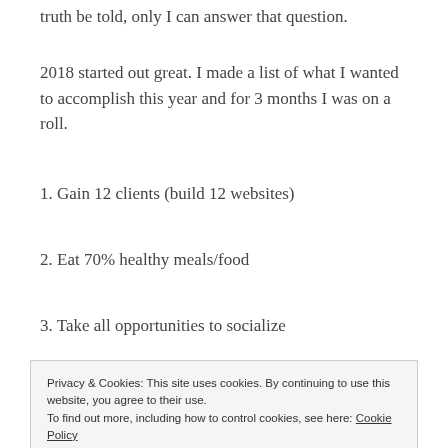truth be told, only I can answer that question.
2018 started out great. I made a list of what I wanted to accomplish this year and for 3 months I was on a roll.
1. Gain 12 clients (build 12 websites)
2. Eat 70% healthy meals/food
3. Take all opportunities to socialize
4. Rebuild my emergency fund.
Privacy & Cookies: This site uses cookies. By continuing to use this website, you agree to their use.
To find out more, including how to control cookies, see here: Cookie Policy
[Close and accept]
I've been dealing with depression and other symptoms